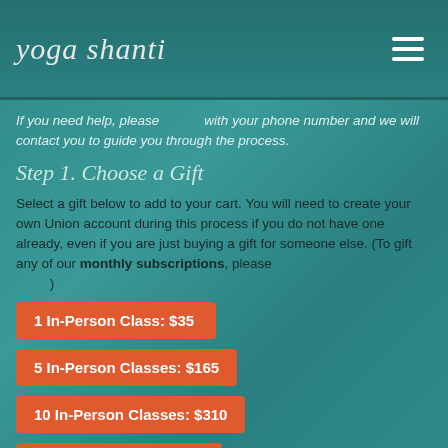yoga shanti
If you need help, please [link] with your phone number and we will contact you to guide you through the process.
Step 1. Choose a Gift
Select a gift below to add to your cart. You will need to create your own Union account during this process if you do not have one already, even if you are just buying a gift for someone else. (To gift any of our monthly subscriptions, please [link] )
1 In-Person Class: $35
5 In-Person Classes: $165
10 In-Person Classes: $310
1 Livestream Class: $15